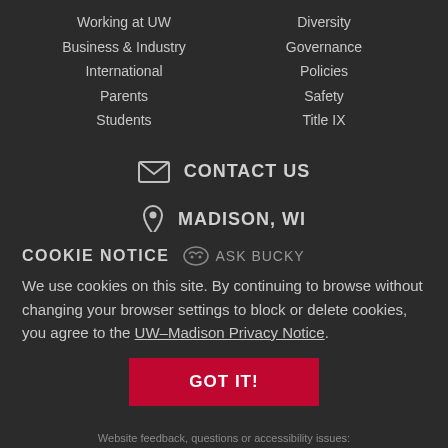Working at UW
Business & Industry
International
Parents
Students
Diversity
Governance
Policies
Safety
Title IX
CONTACT US
MADISON, WI
COOKIE NOTICE
ASK BUCKY
We use cookies on this site. By continuing to browse without changing your browser settings to block or delete cookies, you agree to the UW–Madison Privacy Notice.
GOT IT!
Website feedback, questions or accessibility issues: